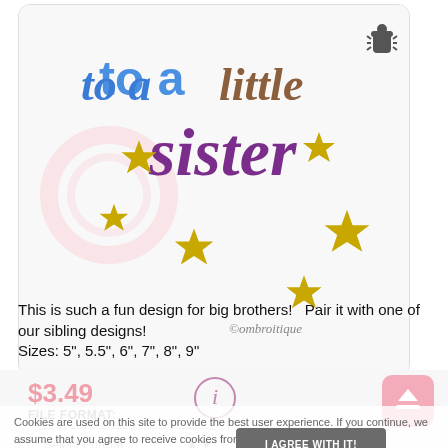[Figure (illustration): Embroidery design showing colorful text 'to a little sister' with gold star decorations and copyright watermark 'ombroitique'. Text colors: teal/blue for 'to a', brown for 'little', purple for 'sister'.]
This is such a fun design for big brothers!   Pair it with one of our sibling designs!
Sizes: 5", 5.5", 6", 7", 8", 9"
$3.49
FILE FORMAT:
Select Format
Cookies are used on this site to provide the best user experience. If you continue, we assume that you agree to receive cookies from this site.
I AGREE WITH IT!